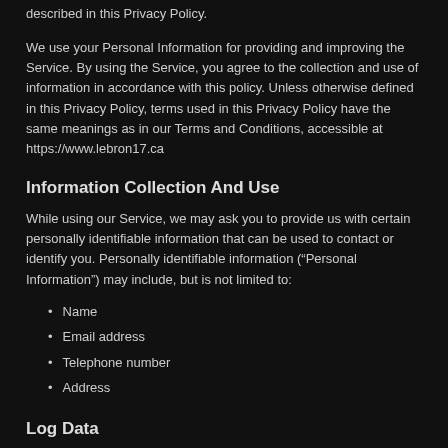described in this Privacy Policy.
We use your Personal Information for providing and improving the Service. By using the Service, you agree to the collection and use of information in accordance with this policy. Unless otherwise defined in this Privacy Policy, terms used in this Privacy Policy have the same meanings as in our Terms and Conditions, accessible at https://www.lebron17.ca
Information Collection And Use
While using our Service, we may ask you to provide us with certain personally identifiable information that can be used to contact or identify you. Personally identifiable information (“Personal Information”) may include, but is not limited to:
Name
Email address
Telephone number
Address
Log Data